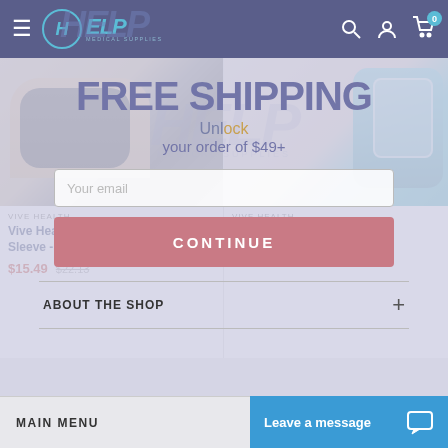HELP MEDICAL SUPPLIES
[Figure (screenshot): Product card: Vive Health Compression Arm Sleeve - Black, showing arm wearing dark compression sleeve]
VIVE HEALTH
Vive Health Compression Arm Sleeve - Black
$15.49  $22.13
[Figure (screenshot): Product card: Vive Health Ankle Ice pack, showing blue/teal ankle brace/ice wrap]
VIVE HEALTH
Vive Health Ankle Ic...
$23.74  $33.91
[Figure (infographic): Free shipping popup overlay with text: FREE SHIPPING, Unlock your order of $49+, email input field, and CONTINUE button]
FREE SHIPPING
Unlock your order of $49+
Your email
CONTINUE
ABOUT THE SHOP
MAIN MENU
Leave a message